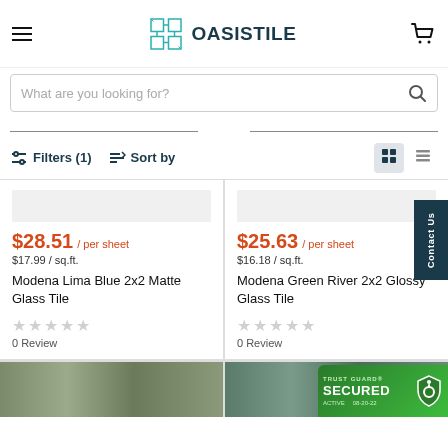OASISTILE
What are you looking for?
Filters (1)  Sort by
$28.51 / per sheet
$17.99 / sq.ft.
Modena Lima Blue 2x2 Matte Glass Tile
0 Review
$25.63 / per sheet
$16.18 / sq.ft.
Modena Green River 2x2 Glossy Glass Tile
0 Review